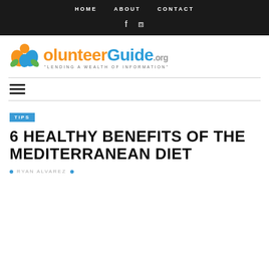HOME   ABOUT   CONTACT
[Figure (logo): VolunteerGuide.org logo with colorful icon of people and tagline 'LENDING A WEALTH OF INFORMATION']
TIPS
6 HEALTHY BENEFITS OF THE MEDITERRANEAN DIET
RYAN ALVAREZ